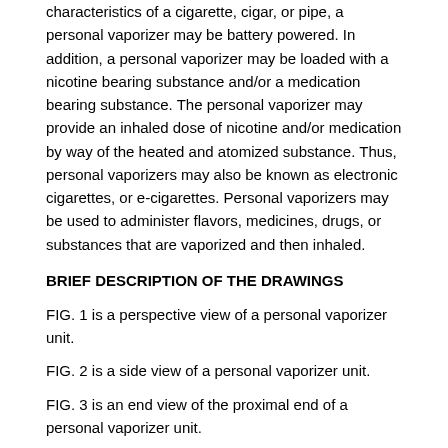characteristics of a cigarette, cigar, or pipe, a personal vaporizer may be battery powered. In addition, a personal vaporizer may be loaded with a nicotine bearing substance and/or a medication bearing substance. The personal vaporizer may provide an inhaled dose of nicotine and/or medication by way of the heated and atomized substance. Thus, personal vaporizers may also be known as electronic cigarettes, or e-cigarettes. Personal vaporizers may be used to administer flavors, medicines, drugs, or substances that are vaporized and then inhaled.
BRIEF DESCRIPTION OF THE DRAWINGS
FIG. 1 is a perspective view of a personal vaporizer unit.
FIG. 2 is a side view of a personal vaporizer unit.
FIG. 3 is an end view of the proximal end of a personal vaporizer unit.
FIG. 4 is an end view of the distal end of a personal vaporizer unit.
FIG. 4A is an end view of the distal end of a personal vaporizer unit having an embossed cartridge.